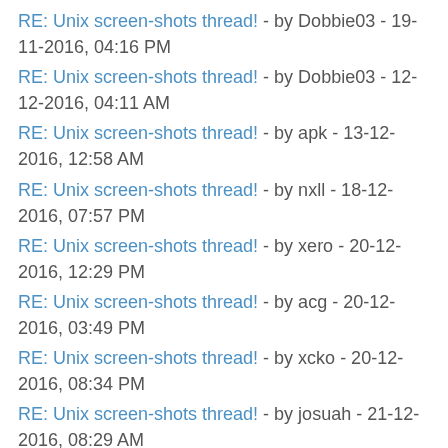RE: Unix screen-shots thread! - by Dobbie03 - 19-11-2016, 04:16 PM
RE: Unix screen-shots thread! - by Dobbie03 - 12-12-2016, 04:11 AM
RE: Unix screen-shots thread! - by apk - 13-12-2016, 12:58 AM
RE: Unix screen-shots thread! - by nxll - 18-12-2016, 07:57 PM
RE: Unix screen-shots thread! - by xero - 20-12-2016, 12:29 PM
RE: Unix screen-shots thread! - by acg - 20-12-2016, 03:49 PM
RE: Unix screen-shots thread! - by xcko - 20-12-2016, 08:34 PM
RE: Unix screen-shots thread! - by josuah - 21-12-2016, 08:29 AM
RE: Unix screen-shots thread! - by tudurom - 21-12-2016, 11:21 AM
RE: Unix screen-shots thread! - by lemons - 21-12-2016, 11:44 AM
RE: Unix screen-shots thread! - by xcko - 21-12-2016, 02:34 PM
RE: Unix screen-shots thread! - by dab - 22-12-2016, 11:36 AM
RE: Unix screen-shots thread! - by nxll - 22-12-2016, 12:25 PM